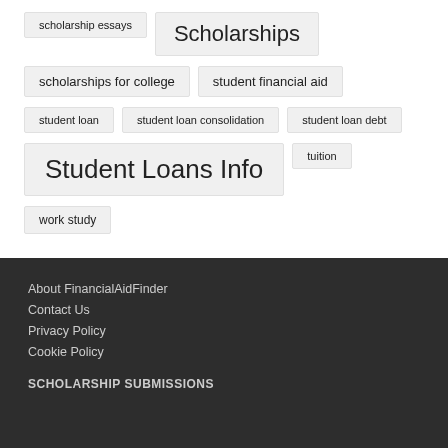scholarship essays
Scholarships
scholarships for college
student financial aid
student loan
student loan consolidation
student loan debt
Student Loans Info
tuition
work study
About FinancialAidFinder
Contact Us
Privacy Policy
Cookie Policy
SCHOLARSHIP SUBMISSIONS